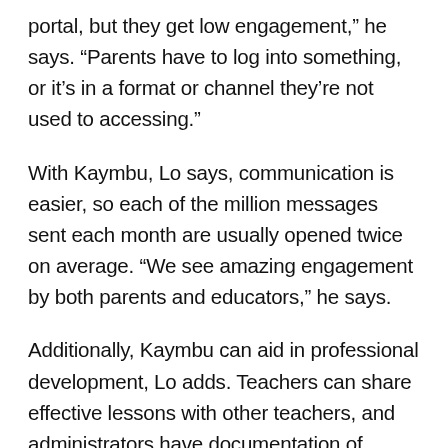portal, but they get low engagement,” he says. “Parents have to log into something, or it’s in a format or channel they’re not used to accessing.”
With Kaymbu, Lo says, communication is easier, so each of the million messages sent each month are usually opened twice on average. “We see amazing engagement by both parents and educators,” he says.
Additionally, Kaymbu can aid in professional development, Lo adds. Teachers can share effective lessons with other teachers, and administrators have documentation of what’s going on in multiple classrooms, so they can offer praise and feedback. “This gives [teachers and administrators] visibility into different classrooms,” Lo says.